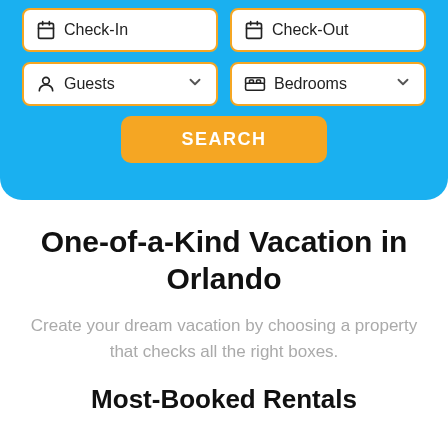[Figure (screenshot): Vacation rental search widget with Check-In, Check-Out, Guests, Bedrooms fields and a SEARCH button on a blue background]
One-of-a-Kind Vacation in Orlando
Create your dream vacation by choosing a property that checks all the right boxes.
Most-Booked Rentals